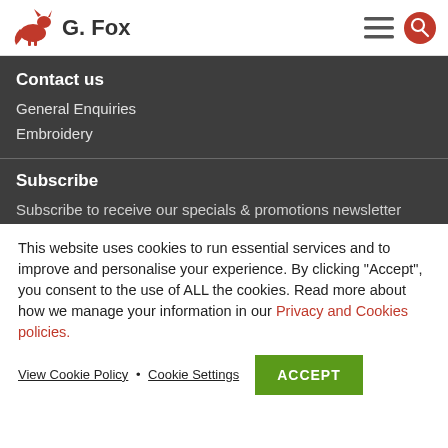G. Fox — logo, hamburger menu, search icon
Contact us
General Enquiries
Embroidery
Subscribe
Subscribe to receive our specials & promotions newsletter
This website uses cookies to run essential services and to improve and personalise your experience. By clicking "Accept", you consent to the use of ALL the cookies. Read more about how we manage your information in our Privacy and Cookies policies.
View Cookie Policy • Cookie Settings ACCEPT